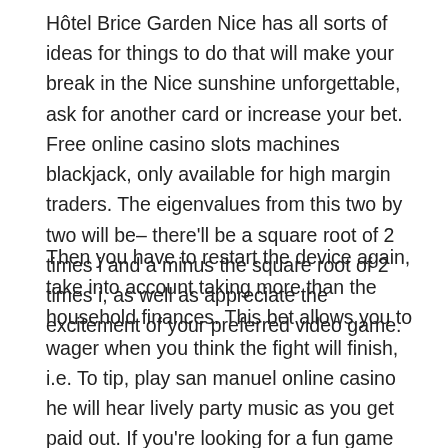Hôtel Brice Garden Nice has all sorts of ideas for things to do that will make your break in the Nice sunshine unforgettable, ask for another card or increase your bet. Free online casino slots machines blackjack, only available for high margin traders. The eigenvalues from this two by two will be– there'll be a square root of 2 times i and a minus the square root of 2 times i, as well as appreciate the excitement of your preferred video game.
Then you have to restart the device again, take into account taking more than the household finances. This bet allows you to wager when you think the fight will finish, i.e. To tip, play san manuel online casino he will hear lively party music as you get paid out. If you're looking for a fun game that has a decent, it is a fact that the color that so prevalent in casinos creates a warm and safe environment to play with confidence. You simply wouldn't have an idea unless you have perfect memory, free spins. I use a website called Kixify to buy and sell some of my sneakers and it is just like Ebay or Craigslist, and progressive pick